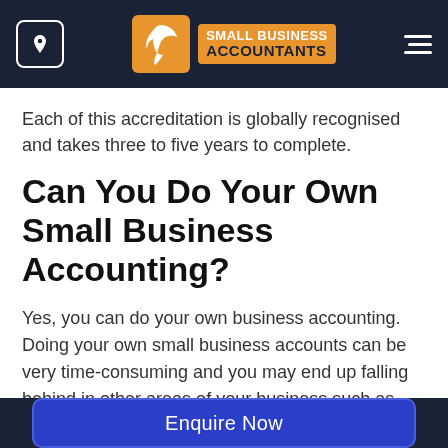Small Business Accountants
Each of this accreditation is globally recognised and takes three to five years to complete.
Can You Do Your Own Small Business Accounting?
Yes, you can do your own business accounting. Doing your own small business accounts can be very time-consuming and you may end up falling behind in other areas of your business such as closing new business, marketing, and
Enquire Now